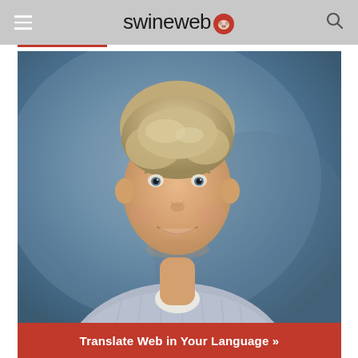swineweb
[Figure (photo): Portrait photo of a middle-aged man with light blonde/grey hair, smiling, wearing a light blue checkered shirt, against a blurred blue-grey background]
Translate Web in Your Language »